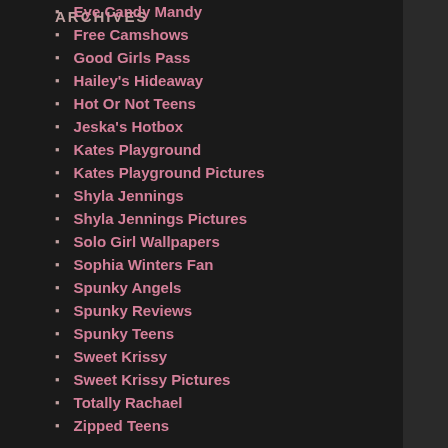Eye Candy Mandy
Free Camshows
Good Girls Pass
Hailey's Hideaway
Hot Or Not Teens
Jeska's Hotbox
Kates Playground
Kates Playground Pictures
Shyla Jennings
Shyla Jennings Pictures
Solo Girl Wallpapers
Sophia Winters Fan
Spunky Angels
Spunky Reviews
Spunky Teens
Sweet Krissy
Sweet Krissy Pictures
Totally Rachael
Zipped Teens
ARCHIVES